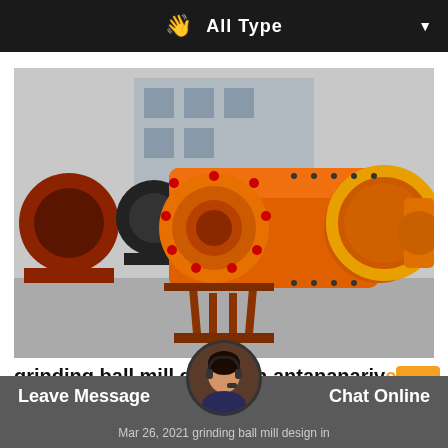All Type
[Figure (photo): Industrial orange ball mill grinding machine photographed outdoors in a factory yard, with additional machinery visible in the background including a large yellow gear wheel.]
grinding ball mill design in antananarivo
Leave Message   Mar 26, 2021 grinding ball mill design in   Chat Online